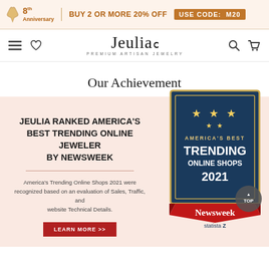8th Anniversary | BUY 2 OR MORE 20% OFF | USE CODE: M20
[Figure (screenshot): Jeulia website navigation bar with hamburger menu, heart icon, Jeulia logo (Premium Artisan Jewelry), search and cart icons]
Our Achievement
JEULIA RANKED AMERICA'S BEST TRENDING ONLINE JEWELER BY NEWSWEEK
America's Trending Online Shops 2021 were recognized based on an evaluation of Sales, Traffic, and website Technical Details.
LEARN MORE >>
[Figure (illustration): America's Best Trending Online Shops 2021 award badge from Newsweek and Statista, showing stars and red ribbon]